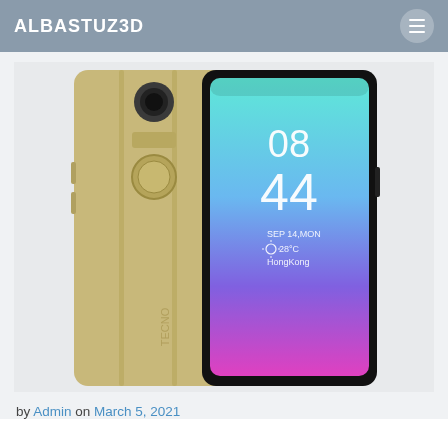ALBASTUZ3D
[Figure (photo): Product photo of a Tecno smartphone showing both the back (gold/champagne colored with fingerprint sensor and camera) and the front (with colorful gradient lock screen displaying 08:44, SEP 14 MON, 28°C, HongKong)]
by Admin on March 5, 2021